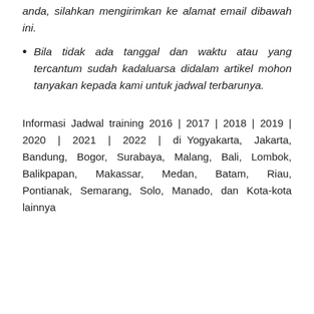anda, silahkan mengirimkan ke alamat email dibawah ini.
Bila tidak ada tanggal dan waktu atau yang tercantum sudah kadaluarsa didalam artikel mohon tanyakan kepada kami untuk jadwal terbarunya.
Informasi Jadwal training 2016 | 2017 | 2018 | 2019 | 2020 | 2021 | 2022 | di Yogyakarta, Jakarta, Bandung, Bogor, Surabaya, Malang, Bali, Lombok, Balikpapan, Makassar, Medan, Batam, Riau, Pontianak, Semarang, Solo, Manado, dan Kota-kota lainnya